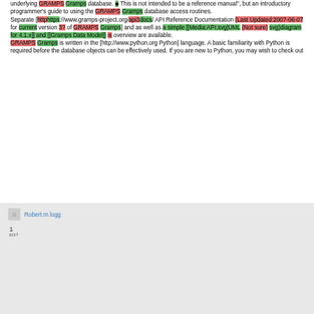underlying GRAMPS Gramps database. This is not intended to be a reference manual", but an introductory programmer's guide to using the GRAMPS Gramps database access routines. Separate [httphttps://www.gramps-project.org/api3docs/ API Reference Documentation (Last Updated:2007-06-07 for current version 3? of GRAMPS Gramps] and as well as a simple [[Media:API.svg|UML (Not sure) svg)diagram for 4.1.x]] and [[Gramps Data Model]] is overview are available. GRAMPS Gramps is written in the [http://www.python.org Python] language. A basic familiarity with Python is required before the database objects can be effectively used. If you are new to Python, you may wish to check out
Robert.m.lugg
1
EDIT